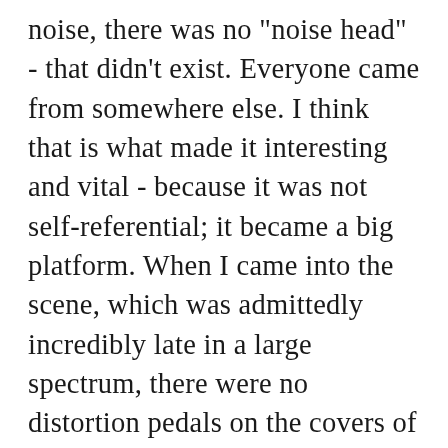noise, there was no "noise head" - that didn't exist. Everyone came from somewhere else. I think that is what made it interesting and vital - because it was not self-referential; it became a big platform. When I came into the scene, which was admittedly incredibly late in a large spectrum, there were no distortion pedals on the covers of albums. Everyone had their own obsessions and backgrounds and interests, and they brought that and used that on the platform of noise to express a more personal world that had nothing to do with noise as something really. I...